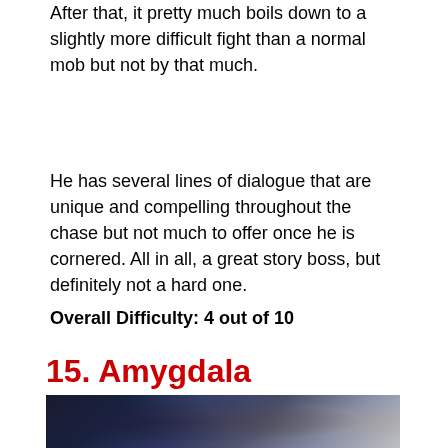After that, it pretty much boils down to a slightly more difficult fight than a normal mob but not by that much.
He has several lines of dialogue that are unique and compelling throughout the chase but not much to offer once he is cornered. All in all, a great story boss, but definitely not a hard one.
Overall Difficulty: 4 out of 10
15. Amygdala
[Figure (photo): A dark creature with long limbs and a large body, surrounded by stone ruins — Amygdala from Bloodborne.]